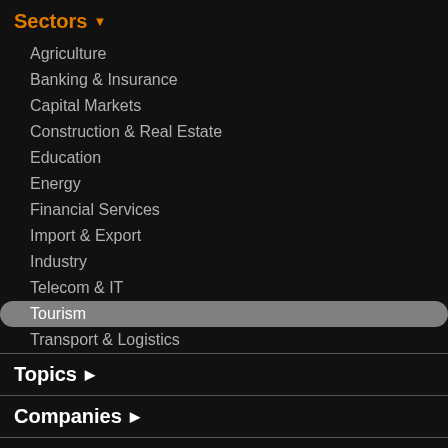Sectors ▼
Agriculture
Banking & Insurance
Capital Markets
Construction & Real Estate
Education
Energy
Financial Services
Import & Export
Industry
Telecom & IT
Tourism
Transport & Logistics
Topics ▶
Companies ▶
Leaders
Stories
Analysis